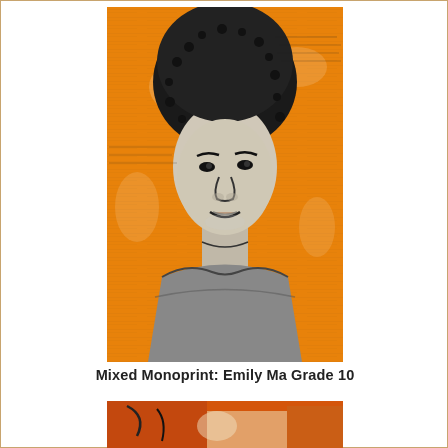[Figure (illustration): Mixed monoprint artwork showing a portrait of a person with natural hair on an orange/yellow background with text visible underneath, rendered in black ink. Background has newspaper-like text print visible in orange and white tones.]
Mixed Monoprint: Emily Ma Grade 10
[Figure (illustration): Partial view of another mixed monoprint artwork at bottom of page, showing orange tones, partially cropped.]